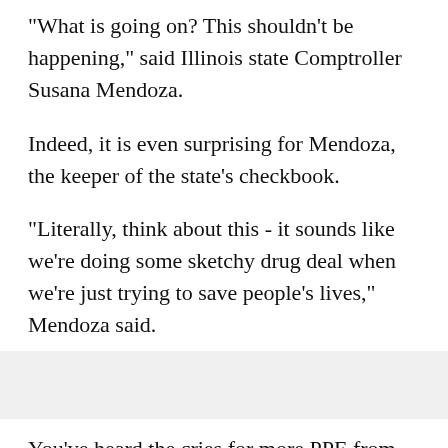"What is going on? This shouldn't be happening," said Illinois state Comptroller Susana Mendoza.
Indeed, it is even surprising for Mendoza, the keeper of the state's checkbook.
"Literally, think about this - it sounds like we're doing some sketchy drug deal when we're just trying to save people's lives," Mendoza said.
You've heard the cries for more PPE from state leaders and those on the front line. Illinois has been forced to bid against other states.
On Monday, Gov. JB Pritzker revealed what Illinois has asked the federal government for compared to